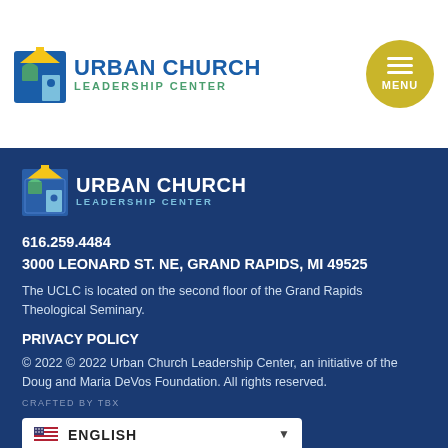[Figure (logo): Urban Church Leadership Center logo with church icon in blue and green]
[Figure (logo): Menu button - golden circle with hamburger lines and MENU label]
[Figure (logo): Urban Church Leadership Center white logo in footer]
616.259.4484
3000 LEONARD ST. NE, GRAND RAPIDS, MI 49525
The UCLC is located on the second floor of the Grand Rapids Theological Seminary.
PRIVACY POLICY
© 2022 © 2022 Urban Church Leadership Center, an initiative of the Doug and Maria DeVos Foundation. All rights reserved.
CRAFTED BY TBX
ENGLISH